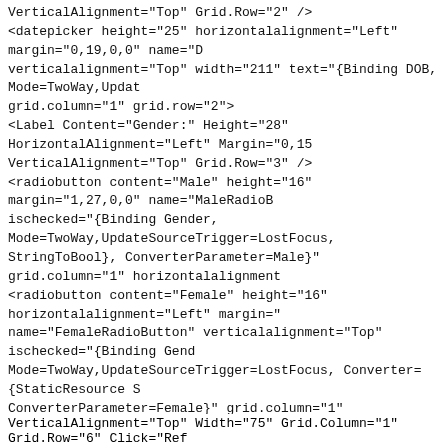VerticalAlignment="Top" Grid.Row="2" />
<datepicker height="25" horizontalalignment="Left" margin="0,19,0,0" name="D
verticalalignment="Top" width="211" text="{Binding DOB, Mode=TwoWay,Updat
grid.column="1" grid.row="2">
<Label Content="Gender:" Height="28" HorizontalAlignment="Left" Margin="0,1
VerticalAlignment="Top" Grid.Row="3" />
<radiobutton content="Male" height="16" margin="1,27,0,0" name="MaleRadioB
ischecked="{Binding Gender, Mode=TwoWay,UpdateSourceTrigger=LostFocus,
StringToBool}, ConverterParameter=Male}" grid.column="1" horizontalalignment
<radiobutton content="Female" height="16" horizontalalignment="Left" margin=
name="FemaleRadioButton" verticalalignment="Top" ischecked="{Binding Gend
Mode=TwoWay,UpdateSourceTrigger=LostFocus, Converter={StaticResource S
ConverterParameter=Female}" grid.column="1" grid.row="3">
<Label Content="State:" Height="28" HorizontalAlignment="Left" Margin="0,18,
" margin="0,23,153,0" name="
State, Mode=TwoWay,Upda
lgnment="Left" Margin="1,17
" margin="0,22,153,0" name=
District, Mode=TwoWay,Upd
nment="Left" Margin="1,22,
tton_Click" Grid.Column="1
lgnment="Left" Margin="84,2
1" Grid.Row="6" Click="Del
Alignment="Left" Margin="16
VerticalAlignment="Top" Width="75" Grid.Column="1" Grid.Row="6" Click="Ref
[Figure (screenshot): Cookie consent overlay banner with orange background. Text reads: 'Like every other website we use cookies. By using our site you acknowledge that you have read and understand our Cookie Policy, Privacy Policy, and our Terms of Service. Learn more'. Three buttons: 'Ask me later', 'Decline', 'Allow cookies'.]